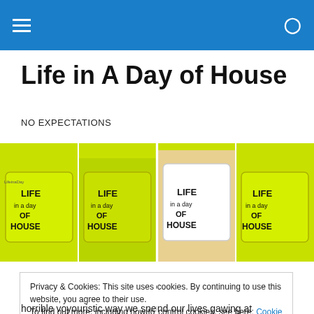≡   🔍
Life in A Day of House
NO EXPECTATIONS
[Figure (photo): A banner image showing four yellow/green and white mugs with 'LIFE in a Day OF HOUSE' text printed on them, arranged in a row.]
Privacy & Cookies: This site uses cookies. By continuing to use this website, you agree to their use.
To find out more, including how to control cookies, see here: Cookie Policy

Close and accept
horrible voyouristic way we spend our lives gawing at